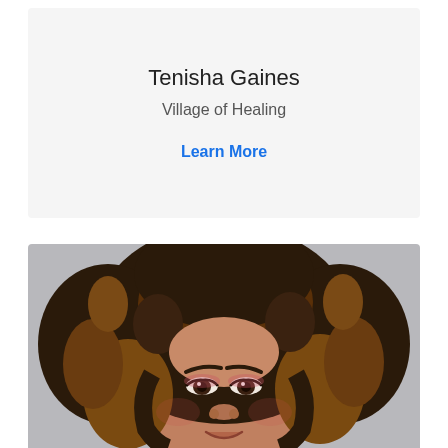Tenisha Gaines
Village of Healing
Learn More
[Figure (photo): Portrait photo of Tenisha Gaines, a woman with curly highlighted hair, wearing makeup with pink eyeshadow, smiling, photographed against a light gray background.]